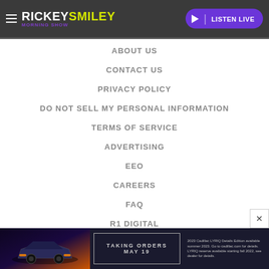RICKEYSMILEY MORNING SHOW — LISTEN LIVE
ABOUT US
CONTACT US
PRIVACY POLICY
DO NOT SELL MY PERSONAL INFORMATION
TERMS OF SERVICE
ADVERTISING
EEO
CAREERS
FAQ
R1 DIGITAL
[Figure (screenshot): Cadillac LYRIQ advertisement banner at bottom: Taking Orders May 19]